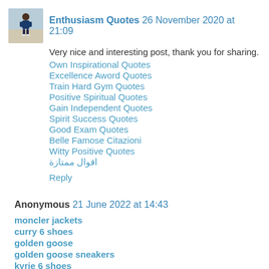[Figure (photo): Small avatar photo of a person in casual clothes outdoors]
Enthusiasm Quotes 26 November 2020 at 21:09
Very nice and interesting post, thank you for sharing.
Own Inspirational Quotes
Excellence Aword Quotes
Train Hard Gym Quotes
Positive Spiritual Quotes
Gain Independent Quotes
Spirit Success Quotes
Good Exam Quotes
Belle Famose Citazioni
Witty Positive Quotes
اقوال ممتازة
Reply
Anonymous 21 June 2022 at 14:43
moncler jackets
curry 6 shoes
golden goose
golden goose sneakers
kyrie 6 shoes